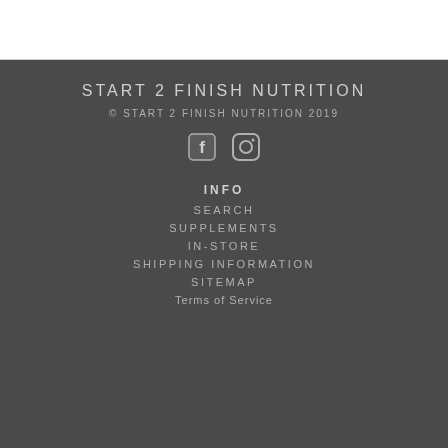START 2 FINISH NUTRITION
© START 2 FINISH NUTRITION 2019
[Figure (illustration): Facebook and Instagram social media icons in white/light gray on dark background]
INFO
SEARCH
SUPPLEMENTS
IN-STORE
SHIPPING INFORMATION
SITEMAP
Terms of Service